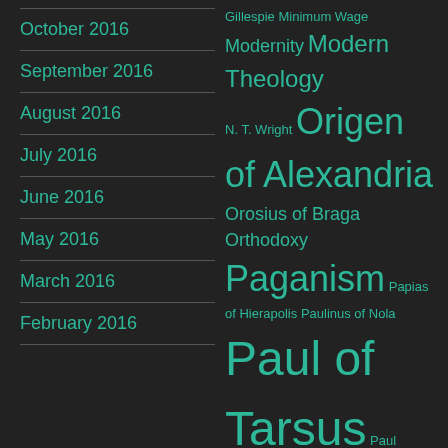October 2016
September 2016
August 2016
July 2016
June 2016
May 2016
March 2016
February 2016
Gillespie Minimum Wage Modernity Modern Theology N. T. Wright Origen of Alexandria Orosius of Braga Orthodoxy Paganism Papias of Hierapolis Paulinus of Nola Paul of Tarsus Paul Rorem Peter Brown Peter Lombard Plato Platonism Plotinus Poems Poetry Pope Gelasius Popular Culture Poverty Psalms